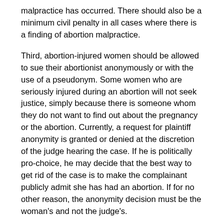malpractice has occurred. There should also be a minimum civil penalty in all cases where there is a finding of abortion malpractice.
Third, abortion-injured women should be allowed to sue their abortionist anonymously or with the use of a pseudonym. Some women who are seriously injured during an abortion will not seek justice, simply because there is someone whom they do not want to find out about the pregnancy or the abortion. Currently, a request for plaintiff anonymity is granted or denied at the discretion of the judge hearing the case. If he is politically pro-choice, he may decide that the best way to get rid of the case is to make the complainant publicly admit she has had an abortion. If for no other reason, the anonymity decision must be the woman's and not the judge's.
Fourth, there should be legislation lowering the burden of proof that women must meet in order to recover damages from an abortionist. Under the current system, she must normally show that she was injured because the abortionist violated the standard of medical care typical in elective abortions. This seems reasonable except that the abortion industry has been so successful at fighting regulations on abortion that violating the